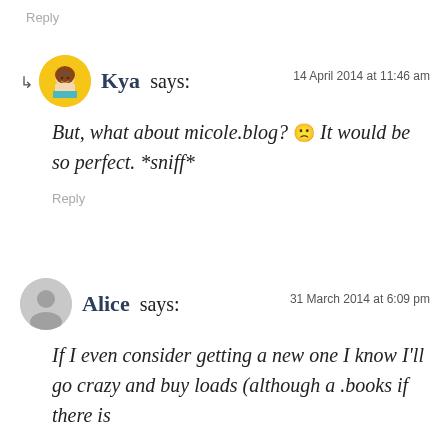Reply
Kya says:
14 April 2014 at 11:46 am
But, what about micole.blog? 🙁 It would be so perfect. *sniff*
Reply
Alice says:
31 March 2014 at 6:09 pm
If I even consider getting a new one I know I'll go crazy and buy loads (although a .books if there is